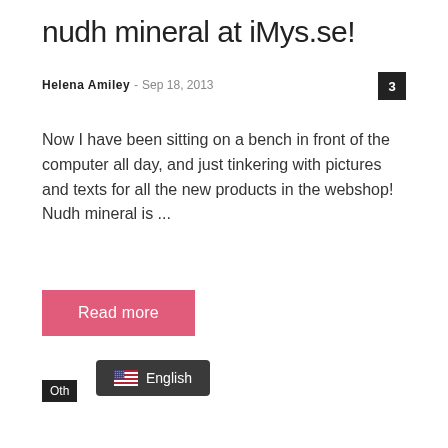nudh mineral at iMys.se!
Helena Amiley  -  Sep 18, 2013
Now I have been sitting on a bench in front of the computer all day, and just tinkering with pictures and texts for all the new products in the webshop! Nudh mineral is ...
Read more
Oth
English